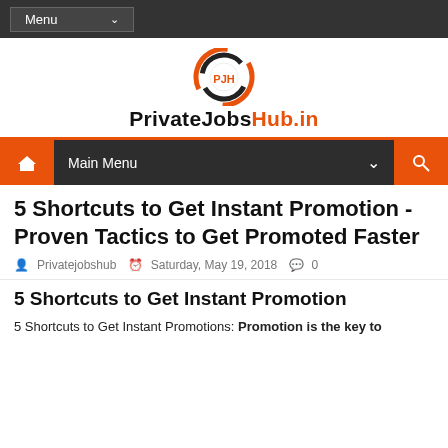Menu
[Figure (logo): PrivateJobsHub.in logo with circular swoosh graphic]
Main Menu
5 Shortcuts to Get Instant Promotion - Proven Tactics to Get Promoted Faster
Privatejobshub   Saturday, May 19, 2018   0
5 Shortcuts to Get Instant Promotion
5 Shortcuts to Get Instant Promotions: Promotion is the key to